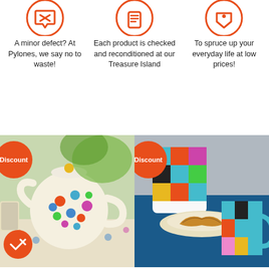[Figure (infographic): Three icons in orange circles representing: defect/return, checked and reconditioned, and everyday life at low prices]
A minor defect? At Pylones, we say no to waste!
Each product is checked and reconditioned at our Treasure Island
To spruce up your everyday life at low prices!
[Figure (photo): Colorful floral patterned teapot and mug on a floral tablecloth with green leaves in background. Orange discount badge top left, orange checkmark badge bottom left.]
[Figure (photo): Geometric patterned mugs and containers on a blue table with a croissant on a plate. Orange discount badge top left.]